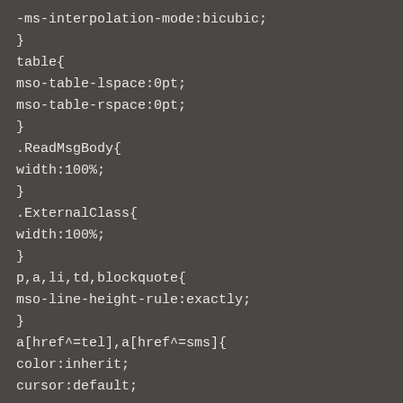-ms-interpolation-mode:bicubic;
}
table{
mso-table-lspace:0pt;
mso-table-rspace:0pt;
}
.ReadMsgBody{
width:100%;
}
.ExternalClass{
width:100%;
}
p,a,li,td,blockquote{
mso-line-height-rule:exactly;
}
a[href^=tel],a[href^=sms]{
color:inherit;
cursor:default;